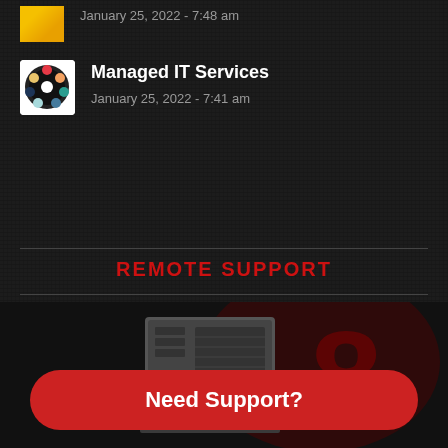January 25, 2022 - 7:48 am
Managed IT Services
January 25, 2022 - 7:41 am
REMOTE SUPPORT
[Figure (photo): Dark background with a computer tower and red overlay graphic elements]
Need Support?